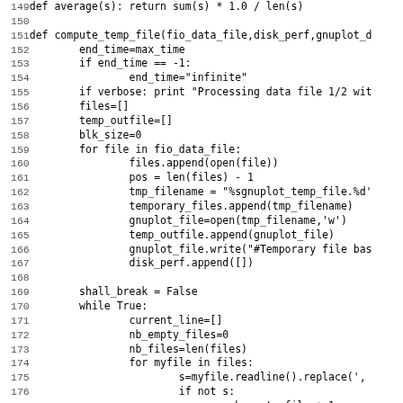Source code listing, lines 149-181, Python script for compute_temp_file function